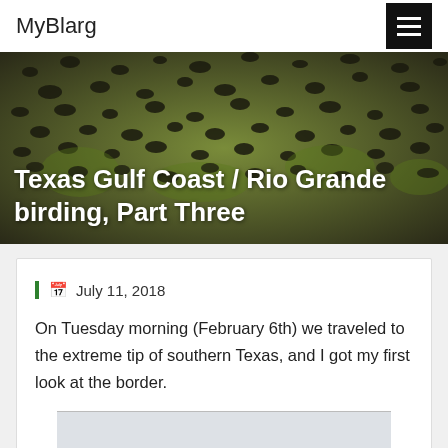MyBlarg
[Figure (photo): Dense flock of blackbirds in trees, used as hero image for blog post about Texas Gulf Coast / Rio Grande birding]
Texas Gulf Coast / Rio Grande birding, Part Three
July 11, 2018
On Tuesday morning (February 6th) we traveled to the extreme tip of southern Texas, and I got my first look at the border.
[Figure (photo): Landscape photo, partially visible at bottom of page, showing border area of southern Texas]